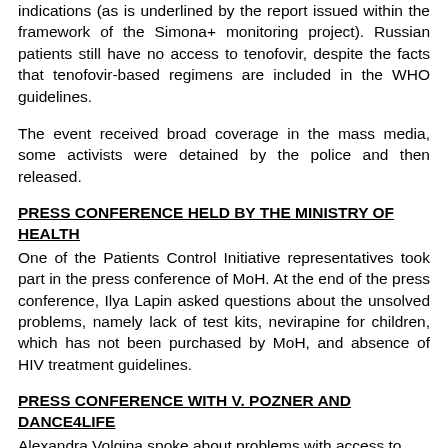indications (as is underlined by the report issued within the framework of the Simona+ monitoring project). Russian patients still have no access to tenofovir, despite the facts that tenofovir-based regimens are included in the WHO guidelines.
The event received broad coverage in the mass media, some activists were detained by the police and then released.
PRESS CONFERENCE HELD BY THE MINISTRY OF HEALTH
One of the Patients Control Initiative representatives took part in the press conference of MoH. At the end of the press conference, Ilya Lapin asked questions about the unsolved problems, namely lack of test kits, nevirapine for children, which has not been purchased by MoH, and absence of HIV treatment guidelines.
PRESS CONFERENCE WITH V. POZNER AND DANCE4LIFE
Alexandra Volgina spoke about problems with access to discoordinate access to ART in the framework of the...